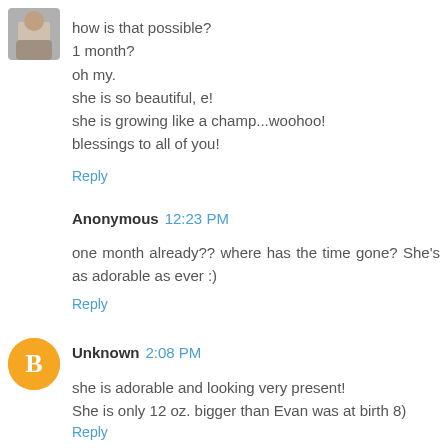[Figure (photo): Small avatar thumbnail showing a person]
how is that possible?
1 month?
oh my.
she is so beautiful, e!
she is growing like a champ...woohoo!
blessings to all of you!
Reply
Anonymous  12:23 PM
one month already?? where has the time gone? She's as adorable as ever :)
Reply
[Figure (logo): Blogger orange circle icon with white B letter]
Unknown  2:08 PM
she is adorable and looking very present!
She is only 12 oz. bigger than Evan was at birth 8)
Reply